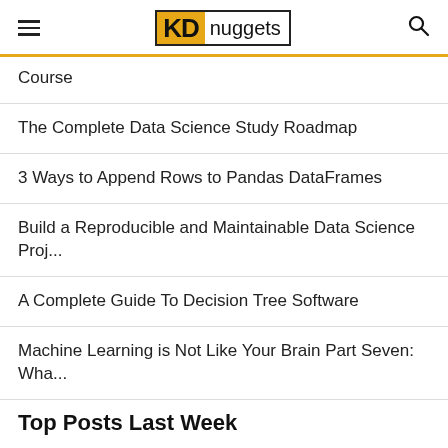KD nuggets
Course
The Complete Data Science Study Roadmap
3 Ways to Append Rows to Pandas DataFrames
Build a Reproducible and Maintainable Data Science Proj...
A Complete Guide To Decision Tree Software
Machine Learning is Not Like Your Brain Part Seven: Wha...
Top Posts Last Week